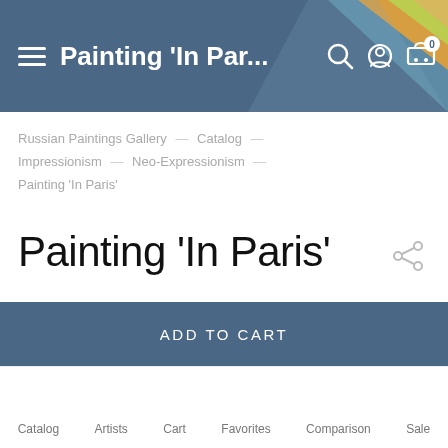Painting 'In Par...
Russian Paintings Gallery — Catalog — Impressionism — Neo-Expressionism — Painting 'In Paris'
Painting 'In Paris'
ADD TO CART
Catalog  Artists  Cart  Favorites  Comparison  Sale